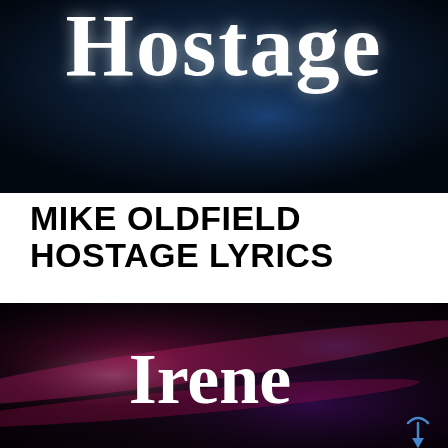[Figure (photo): Dark blue-black background with the word 'Hostage' in large white serif/display font, partially cropped at top. Stage lighting effect visible.]
MIKE OLDFIELD HOSTAGE LYRICS
[Figure (photo): Dark background with magenta/pink and purple swirling light streaks. The word 'Irene' displayed in large white serif/retro font in the center. A small blue upward arrow icon visible in the bottom-right corner.]